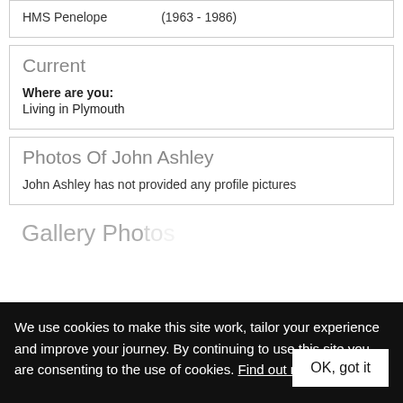HMS Penelope   (1963 - 1986)
Current
Where are you:
Living in Plymouth
Photos Of John Ashley
John Ashley has not provided any profile pictures
Gallery Pho...
We use cookies to make this site work, tailor your experience and improve your journey. By continuing to use this site you are consenting to the use of cookies. Find out more
OK, got it